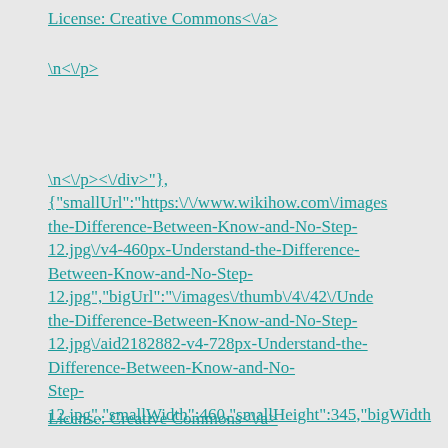License: Creative Commons<\/a>
\n<\/p>
\n<\/p><\/div>"}, {"smallUrl":"https:\/\/www.wikihow.com\/images the-Difference-Between-Know-and-No-Step-12.jpg\/v4-460px-Understand-the-Difference-Between-Know-and-No-Step-12.jpg","bigUrl":"\/images\/thumb\/4\/42\/Unde the-Difference-Between-Know-and-No-Step-12.jpg\/aid2182882-v4-728px-Understand-the-Difference-Between-Know-and-No-Step-12.jpg","smallWidth":460,"smallHeight":345,"bigWidth
License: Creative Commons<\/a>